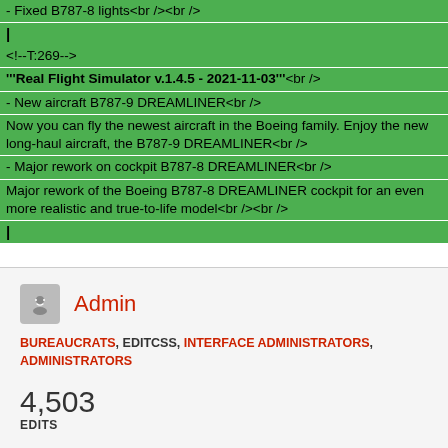- Fixed B787-8 lights<br /><br />
|
<!--T:269-->
'''Real Flight Simulator v.1.4.5 - 2021-11-03'''<br />
- New aircraft B787-9 DREAMLINER<br />
Now you can fly the newest aircraft in the Boeing family. Enjoy the new long-haul aircraft, the B787-9 DREAMLINER<br />
- Major rework on cockpit B787-8 DREAMLINER<br />
Major rework of the Boeing B787-8 DREAMLINER cockpit for an even more realistic and true-to-life model<br /><br />
|
Admin
BUREAUCRATS, EDITCSS, INTERFACE ADMINISTRATORS, ADMINISTRATORS
4,503
EDITS